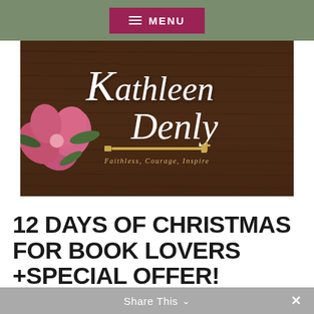MENU
[Figure (logo): Kathleen Denly author logo on dark wood background with pink floral decoration. Tagline: Faithless, Courage, Inspire]
12 DAYS OF CHRISTMAS FOR BOOK LOVERS +SPECIAL OFFER!
by Kathleen Denly | Nov 26, 2018 | Bookworms Unite, Lists | 3 comments
Share This